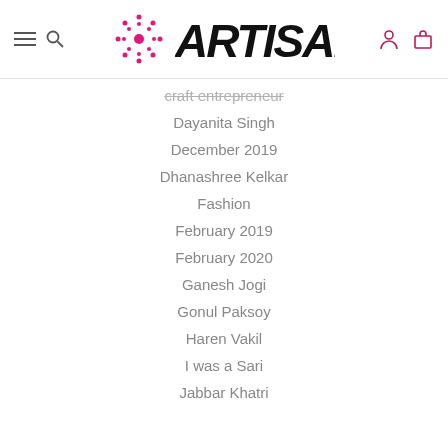[Figure (logo): Artisans' logo with pink mandala/wheel icon and stylized black hand-drawn text ARTISANS']
craft entrepreneur
Dayanita Singh
December 2019
Dhanashree Kelkar
Fashion
February 2019
February 2020
Ganesh Jogi
Gonul Paksoy
Haren Vakil
I was a Sari
Jabbar Khatri